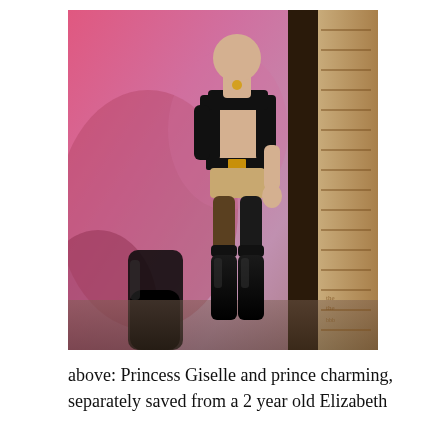[Figure (photo): Close-up photo of two toy dolls: a pink-dressed Princess Giselle doll lying on the left, and a standing action figure (prince charming) in a black uniform with gold belt buckle and black boots in the center. A wooden ruler or box is visible on the right edge.]
above: Princess Giselle and prince charming, separately saved from a 2 year old Elizabeth